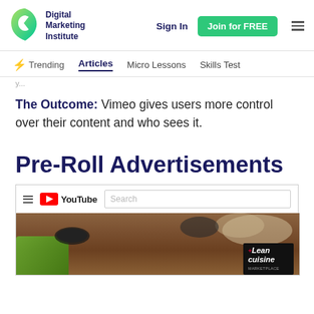Digital Marketing Institute | Sign In | Join for FREE
Trending | Articles | Micro Lessons | Skills Test
The Outcome: Vimeo gives users more control over their content and who sees it.
Pre-Roll Advertisements
[Figure (screenshot): YouTube website interface screenshot showing YouTube logo and search bar, followed by a food advertisement image featuring green beans, dark bowls, cashews, and a Lean Cuisine product box.]